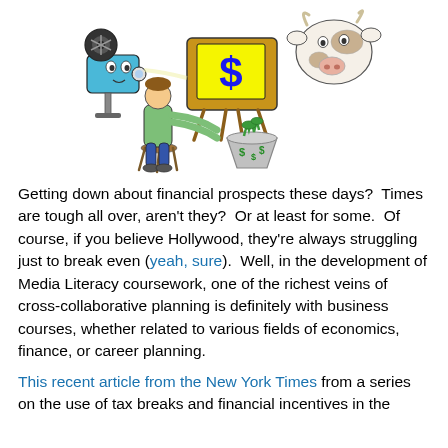[Figure (illustration): A cartoon/clip-art illustration showing a person milking a cow-shaped TV with a dollar sign on the screen, a film projector to the left, and a bucket of money below.]
Getting down about financial prospects these days?  Times are tough all over, aren't they?  Or at least for some.  Of course, if you believe Hollywood, they're always struggling just to break even (yeah, sure).  Well, in the development of Media Literacy coursework, one of the richest veins of cross-collaborative planning is definitely with business courses, whether related to various fields of economics, finance, or career planning.
This recent article from the New York Times from a series on the use of tax breaks and financial incentives in the